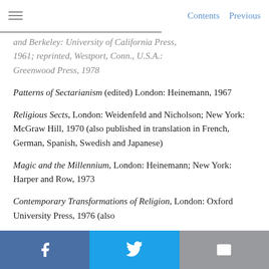Contents   Previous
and Berkeley: University of California Press, 1961; reprinted, Westport, Conn., U.S.A.: Greenwood Press, 1978
Patterns of Sectarianism (edited) London: Heinemann, 1967
Religious Sects, London: Weidenfeld and Nicholson; New York: McGraw Hill, 1970 (also published in translation in French, German, Spanish, Swedish and Japanese)
Magic and the Millennium, London: Heinemann; New York: Harper and Row, 1973
Contemporary Transformations of Religion, London: Oxford University Press, 1976 (also